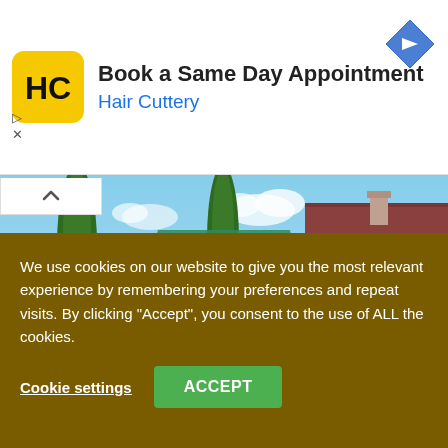[Figure (screenshot): Hair Cuttery advertisement banner with logo (HC on yellow background), text 'Book a Same Day Appointment' and 'Hair Cuttery' in blue, navigation diamond icon on right]
[Figure (screenshot): Farming Simulator video game screenshot showing a farm stand with a green canopy tent, wooden crates, red barrel, a white farmhouse with brown garage door, and cypress trees in background]
We use cookies on our website to give you the most relevant experience by remembering your preferences and repeat visits. By clicking “Accept”, you consent to the use of ALL the cookies.
Cookie settings   ACCEPT